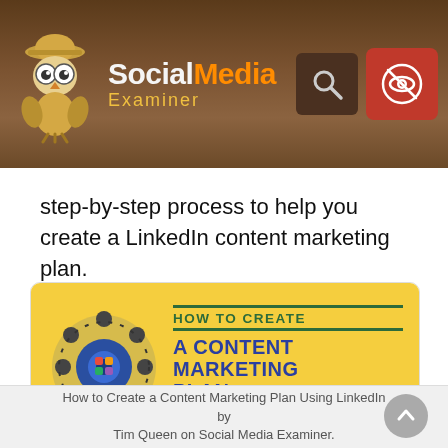Social Media Examiner
step-by-step process to help you create a LinkedIn content marketing plan.
[Figure (infographic): Infographic with yellow background showing a circular group of illustrated people/characters in blue, with gears and puzzle pieces, alongside bold text reading HOW TO CREATE A CONTENT MARKETING PLAN USING LINKEDIN with green and blue text. URL: www.SocialMediaExaminer.com shown at bottom.]
How to Create a Content Marketing Plan Using LinkedIn by Tim Queen on Social Media Examiner.